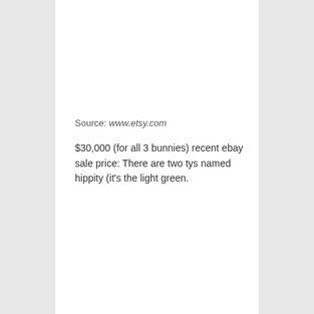Source: www.etsy.com
$30,000 (for all 3 bunnies) recent ebay sale price: There are two tys named hippity (it's the light green.